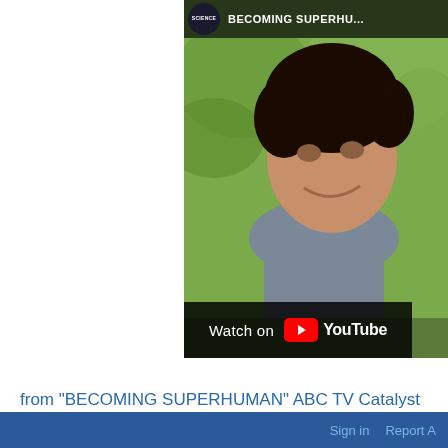[Figure (screenshot): YouTube video thumbnail for 'BECOMING SUPERHUMAN' ABC TV Catalyst, showing a young man smiling with green foliage background, with a 'Watch on YouTube' overlay bar at the bottom and a Science channel logo in the top-left corner of the video.]
from "BECOMING SUPERHUMAN" ABC TV Catalyst
Sign in   Report A